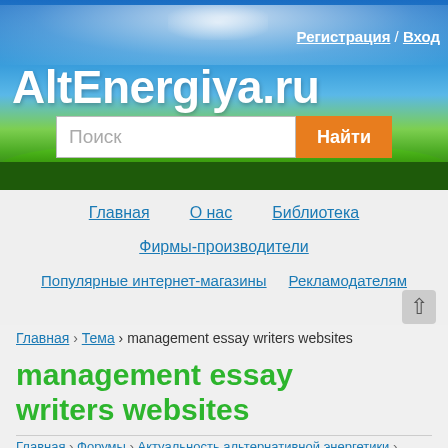[Figure (screenshot): Website header banner with blue sky and green grass background]
AltEnergiya.ru
Регистрация / Вход
Поиск [search box] Найти [button]
Главная
О нас
Библиотека
Фирмы-производители
Популярные интернет-магазины
Рекламодателям
Главная › Тема › management essay writers websites
management essay writers websites
Главная › Форумы › Актуальность альтернативной энергетики ›